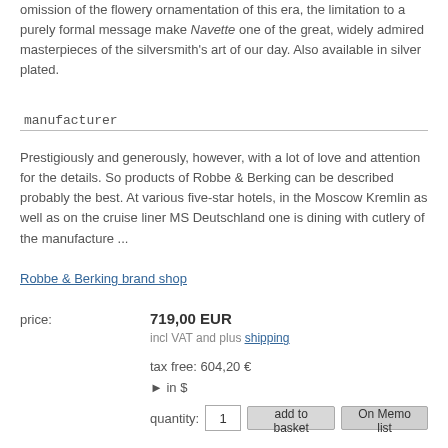omission of the flowery ornamentation of this era, the limitation to a purely formal message make Navette one of the great, widely admired masterpieces of the silversmith's art of our day. Also available in silver plated.
manufacturer
Prestigiously and generously, however, with a lot of love and attention for the details. So products of Robbe & Berking can be described probably the best. At various five-star hotels, in the Moscow Kremlin as well as on the cruise liner MS Deutschland one is dining with cutlery of the manufacture ...
Robbe & Berking brand shop
price: 719,00 EUR incl VAT and plus shipping tax free: 604,20 € ► in $ quantity: 1 add to basket On Memo list